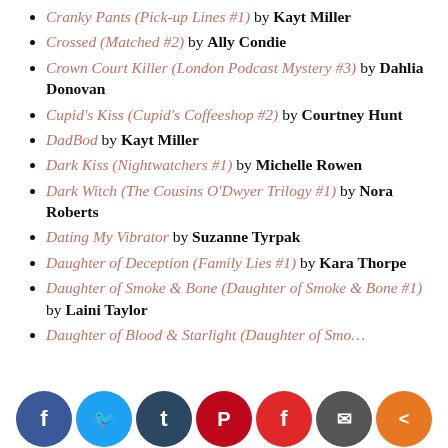Cranky Pants (Pick-up Lines #1) by Kayt Miller
Crossed (Matched #2) by Ally Condie
Crown Court Killer (London Podcast Mystery #3) by Dahlia Donovan
Cupid's Kiss (Cupid's Coffeeshop #2) by Courtney Hunt
DadBod by Kayt Miller
Dark Kiss (Nightwatchers #1) by Michelle Rowen
Dark Witch (The Cousins O'Dwyer Trilogy #1) by Nora Roberts
Dating My Vibrator by Suzanne Tyrpak
Daughter of Deception (Family Lies #1) by Kara Thorpe
Daughter of Smoke & Bone (Daughter of Smoke & Bone #1) by Laini Taylor
Daughter of Blood & Starlight (Daughter of Smoke…